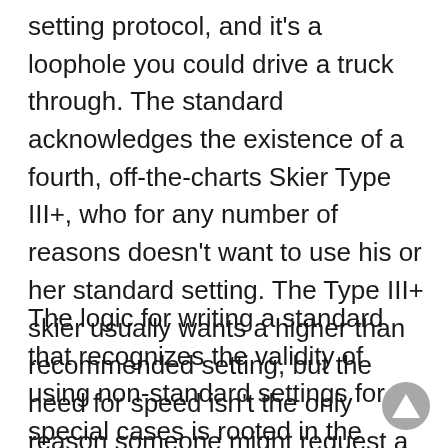setting protocol, and it's a loophole you could drive a truck through. The standard acknowledges the existence of a fourth, off-the-charts Skier Type III+, who for any number of reasons doesn't want to use his or her standard setting. The Type III+ skier usually wants a higher than recommended setting, but the need for speed isn't the only reason someone might request a non-standard setting. For example, skiers with prior injuries may feel better if one binding is set lower than the other.
The logic for writing a standard that recognizes the validity of using non-standard settings for special cases is rooted in the realization that ultimately the skier has the right to determine his/her own